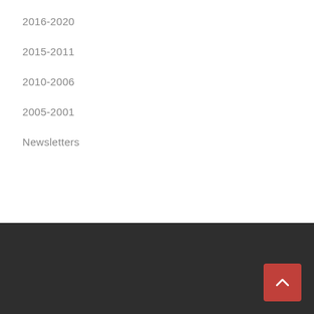2016-2020
2015-2011
2010-2006
2005-2001
Newsletters